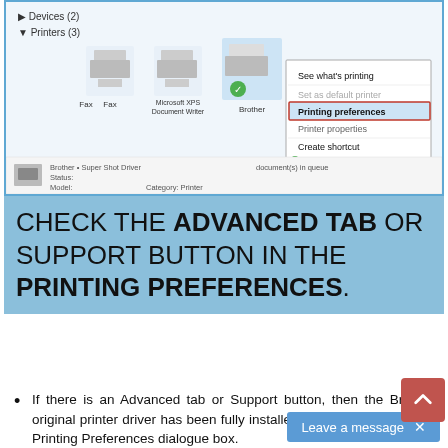[Figure (screenshot): Windows 7 Devices and Printers window showing a right-click context menu on a Brother printer with 'Printing preferences' highlighted in a red rectangle. Menu options include: See what's printing, Set as default printer, Printing preferences (highlighted), Printer properties, Create shortcut, Remove device, Troubleshoot, Properties.]
CHECK THE ADVANCED TAB OR SUPPORT BUTTON IN THE PRINTING PREFERENCES.
If there is an Advanced tab or Support button, then the Brother original printer driver has been fully installed. Click OK to close the Printing Preferences dialogue box.
If not, we have to go ahead and replace the